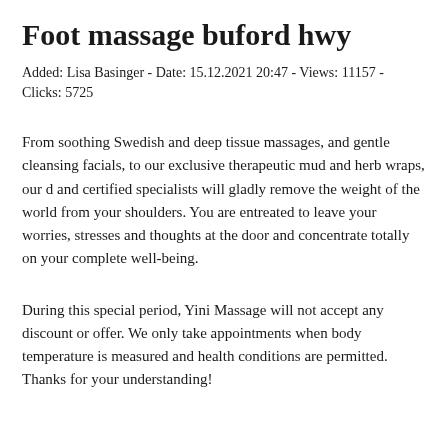Foot massage buford hwy
Added: Lisa Basinger - Date: 15.12.2021 20:47 - Views: 11157 - Clicks: 5725
From soothing Swedish and deep tissue massages, and gentle cleansing facials, to our exclusive therapeutic mud and herb wraps, our d and certified specialists will gladly remove the weight of the world from your shoulders. You are entreated to leave your worries, stresses and thoughts at the door and concentrate totally on your complete well-being.
During this special period, Yini Massage will not accept any discount or offer. We only take appointments when body temperature is measured and health conditions are permitted. Thanks for your understanding!